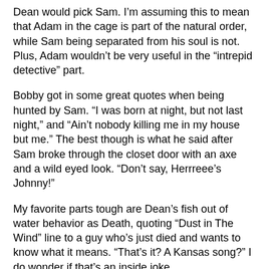Dean would pick Sam. I'm assuming this to mean that Adam in the cage is part of the natural order, while Sam being separated from his soul is not. Plus, Adam wouldn't be very useful in the “intrepid detective” part.
Bobby got in some great quotes when being hunted by Sam. “I was born at night, but not last night,” and “Ain't nobody killing me in my house but me.” The best though is what he said after Sam broke through the closet door with an axe and a wild eyed look. “Don't say, Herrreee's Johnny!”
My favorite parts tough are Dean's fish out of water behavior as Death, quoting “Dust in The Wind” line to a guy who's just died and wants to know what it means. “That's it? A Kansas song?” I do wonder if that's an inside joke